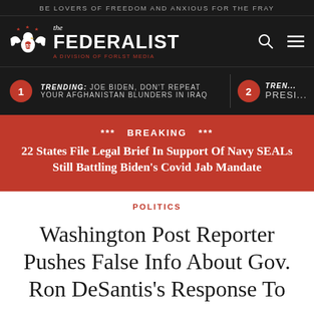BE LOVERS OF FREEDOM AND ANXIOUS FOR THE FRAY
[Figure (logo): The Federalist logo with eagle, 'the FEDERALIST' text, 'A DIVISION OF FORLST MEDIA' tagline, search icon and hamburger menu icon on dark background]
TRENDING: Joe Biden, Don't Repeat Your Afghanistan Blunders In Iraq
2 TREN... Presi...
*** BREAKING *** 22 States File Legal Brief In Support Of Navy SEALs Still Battling Biden's Covid Jab Mandate
POLITICS
Washington Post Reporter Pushes False Info About Gov. Ron DeSantis's Response To